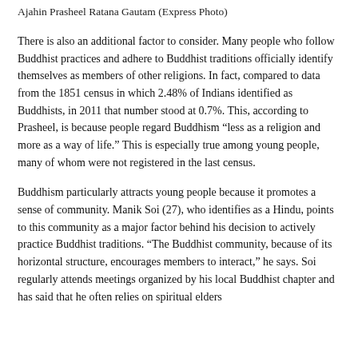Ajahin Prasheel Ratana Gautam (Express Photo)
There is also an additional factor to consider. Many people who follow Buddhist practices and adhere to Buddhist traditions officially identify themselves as members of other religions. In fact, compared to data from the 1851 census in which 2.48% of Indians identified as Buddhists, in 2011 that number stood at 0.7%. This, according to Prasheel, is because people regard Buddhism “less as a religion and more as a way of life.” This is especially true among young people, many of whom were not registered in the last census.
Buddhism particularly attracts young people because it promotes a sense of community. Manik Soi (27), who identifies as a Hindu, points to this community as a major factor behind his decision to actively practice Buddhist traditions. “The Buddhist community, because of its horizontal structure, encourages members to interact,” he says. Soi regularly attends meetings organized by his local Buddhist chapter and has said that he often relies on spiritual elders